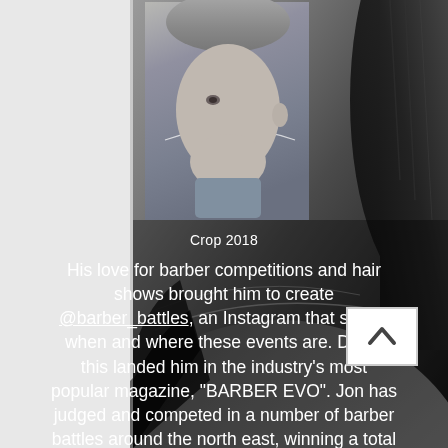[Figure (photo): Background photo of an adult man's head profile showing a precision fade haircut, dark black hair, with a smaller inset photo of a boy with a cropped fade haircut on a gray background]
Crop 2018
His love for barber competitions and hair shows brought him to create @barber_battles, an Instagram that shows when and where these events are. Doing this landed him in the industry's most popular magazine, "BARBER EVO". Jon has judged and competed in a number of barber battles around the north east, winning a total of 7 trophies. In 2018 he decided to go the next step, and open the KINGS OF THE CRAFT BARBERSHOP and to this day continues to hone his